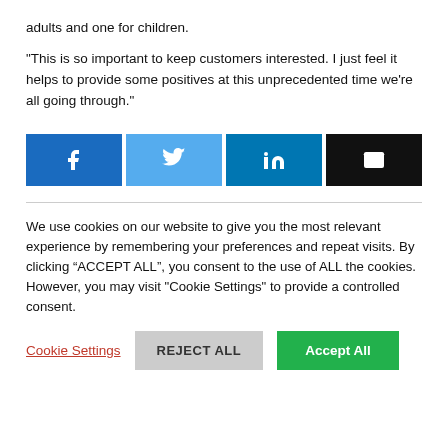adults and one for children.
"This is so important to keep customers interested. I just feel it helps to provide some positives at this unprecedented time we’re all going through."
[Figure (infographic): Social share buttons: Facebook (blue), Twitter (light blue), LinkedIn (dark blue), Email (black)]
We use cookies on our website to give you the most relevant experience by remembering your preferences and repeat visits. By clicking “ACCEPT ALL”, you consent to the use of ALL the cookies. However, you may visit "Cookie Settings" to provide a controlled consent.
Cookie Settings  REJECT ALL  Accept All